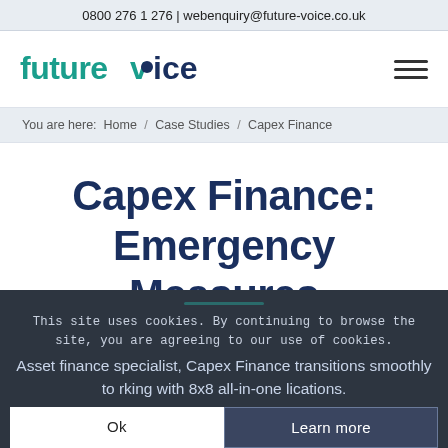0800 276 1 276 | webenquiry@future-voice.co.uk
[Figure (logo): Future Voice logo in teal and dark navy, with stylized 'v' containing a circle]
You are here:  Home / Case Studies / Capex Finance
Capex Finance: Emergency Measures
Asset finance specialist, Capex Finance transitions smoothly to ... working with 8x8 all-in-one ... plications.
This site uses cookies. By continuing to browse the site, you are agreeing to our use of cookies.